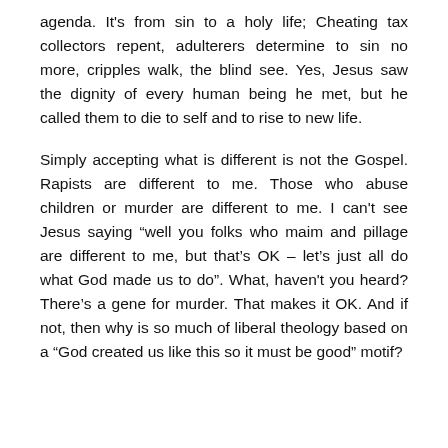agenda. It's from sin to a holy life; Cheating tax collectors repent, adulterers determine to sin no more, cripples walk, the blind see. Yes, Jesus saw the dignity of every human being he met, but he called them to die to self and to rise to new life.
Simply accepting what is different is not the Gospel. Rapists are different to me. Those who abuse children or murder are different to me. I can't see Jesus saying “well you folks who maim and pillage are different to me, but that’s OK – let’s just all do what God made us to do”. What, haven't you heard? There’s a gene for murder. That makes it OK. And if not, then why is so much of liberal theology based on a “God created us like this so it must be good” motif?